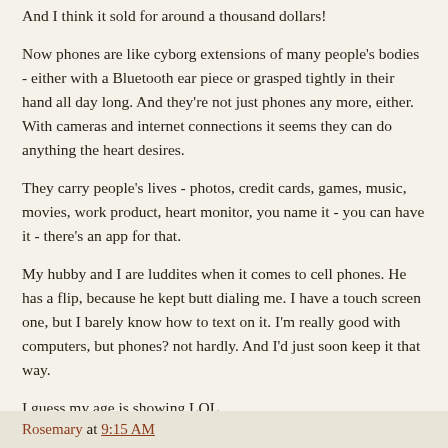And I think it sold for around a thousand dollars!
Now phones are like cyborg extensions of many people's bodies - either with a Bluetooth ear piece or grasped tightly in their hand all day long. And they're not just phones any more, either. With cameras and internet connections it seems they can do anything the heart desires.
They carry people's lives - photos, credit cards, games, music, movies, work product, heart monitor, you name it - you can have it - there's an app for that.
My hubby and I are luddites when it comes to cell phones. He has a flip, because he kept butt dialing me. I have a touch screen one, but I barely know how to text on it. I'm really good with computers, but phones? not hardly. And I'd just soon keep it that way.
I guess my age is showing LOL.
Rosemary at 9:15 AM